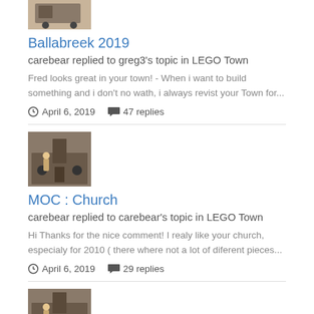[Figure (photo): Small thumbnail image of a LEGO vehicle/scene, partially visible at top]
Ballabreek 2019
carebear replied to greg3's topic in LEGO Town
Fred looks great in your town! - When i want to build something and i don't no wath, i always revist your Town for...
April 6, 2019   47 replies
[Figure (photo): Thumbnail image of a LEGO scene with figures and a vehicle]
MOC : Church
carebear replied to carebear's topic in LEGO Town
Hi Thanks for the nice comment! I realy like your church, especialy for 2010 ( there where not a lot of diferent pieces...
April 6, 2019   29 replies
[Figure (photo): Thumbnail image of a LEGO scene, partially visible at bottom]